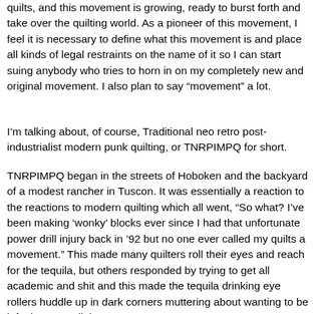quilts, and this movement is growing, ready to burst forth and take over the quilting world. As a pioneer of this movement, I feel it is necessary to define what this movement is and place all kinds of legal restraints on the name of it so I can start suing anybody who tries to horn in on my completely new and original movement. I also plan to say "movement" a lot.
I'm talking about, of course, Traditional neo retro post-industrialist modern punk quilting, or TNRPIMPQ for short.
TNRPIMPQ began in the streets of Hoboken and the backyard of a modest rancher in Tuscon. It was essentially a reaction to the reactions to modern quilting which all went, “So what? I’ve been making ‘wonky’ blocks ever since I had that unfortunate power drill injury back in ’92 but no one ever called my quilts a movement.” This made many quilters roll their eyes and reach for the tequila, but others responded by trying to get all academic and shit and this made the tequila drinking eye rollers huddle up in dark corners muttering about wanting to be left alone to quilt in peace.